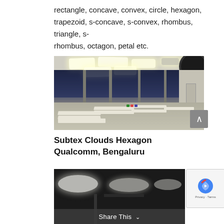rectangle, concave, convex, circle, hexagon, trapezoid, s-concave, s-convex, rhombus, triangle, s-rhombus, octagon, petal etc.
[Figure (photo): Interior room with multiple hexagon-shaped ceiling light panels glowing white, and rows of white rectangular tables arranged in the foreground. Large windows visible along the back wall.]
Subtex Clouds Hexagon Qualcomm, Bengaluru
[Figure (photo): Partial view of another installation with oval/ellipse shaped ceiling lights visible against a dark ceiling background.]